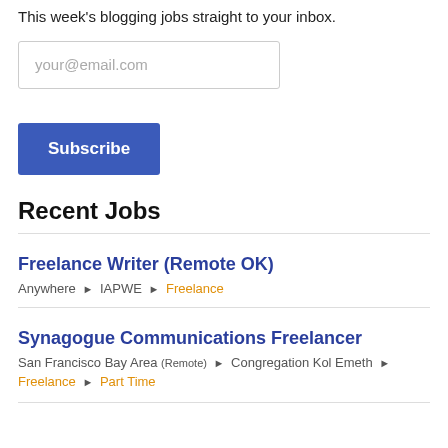This week's blogging jobs straight to your inbox.
[Figure (other): Email input field with placeholder text 'your@email.com']
Subscribe
Recent Jobs
Freelance Writer (Remote OK)
Anywhere ▸ IAPWE ▸ Freelance
Synagogue Communications Freelancer
San Francisco Bay Area (Remote) ▸ Congregation Kol Emeth ▸ Freelance ▸ Part Time